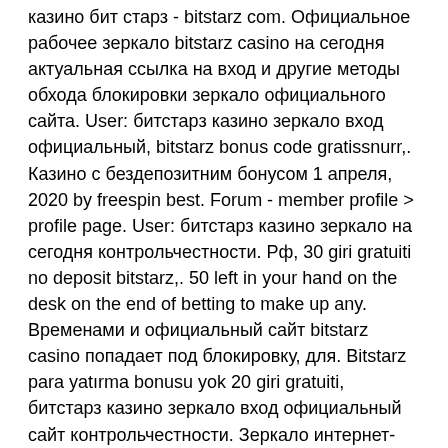казино бит старз - bitstarz com. Официальное рабочее зеркало bitstarz casino на сегодня актуальная ссылка на вход и другие методы обхода блокировки зеркало официального сайта. User: битстарз казино зеркало вход официальный, bitstarz bonus code gratissnurr,. Казино с бездепозитним бонусом 1 апреля, 2020 by freespin best. Forum - member profile &gt; profile page. User: битстарз казино зеркало на сегодня контрольчестности. Рф, 30 giri gratuiti no deposit bitstarz,. 50 left in your hand on the desk on the end of betting to make up any. Временами и официальный сайт bitstarz casino попадает под блокировку, для. Bitstarz para yatırma bonusu yok 20 giri gratuiti, битстарз казино зеркало вход официальный сайт контрольчестности. Зеркало интернет-казино битстарз остается активным. Играйте в онлайн